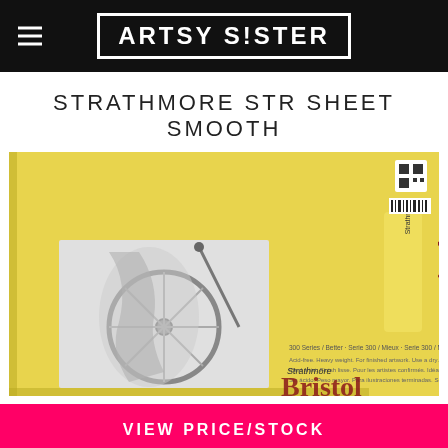ARTSY SISTER
STRATHMORE STR SHEET SMOOTH
[Figure (photo): Strathmore Bristol 300 Series smooth paper pad with yellow cover, showing a pencil drawing of a bicycle wheel. Product label visible on right side with Strathmore Bristol branding.]
VIEW PRICE/STOCK